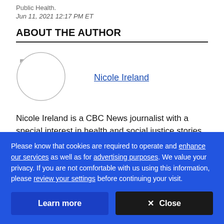Public Health.
Jun 11, 2021 12:17 PM ET
ABOUT THE AUTHOR
[Figure (photo): Circular author avatar placeholder image]
Nicole Ireland
Nicole Ireland is a CBC News journalist with a special interest in health and social justice stories. Based in
Please know that cookies are required to operate and enhance our services as well as for advertising purposes. We value your privacy. If you are not comfortable with us using this information, please review your settings before continuing your visit.